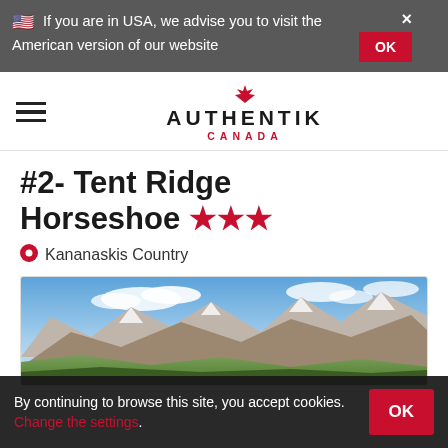🇺🇸 If you are in USA, we advise you to visit the American version of our website
[Figure (logo): Authentik Canada logo with maple leaf, brand name AUTHENTIK and CANADA text]
#2- Tent Ridge Horseshoe ★★★
📍 Kananaskis Country
[Figure (photo): Mountain panorama with blue sky and clouds, snowy peaks and rocky ridges with green slopes in the foreground]
By continuing to browse this site, you accept cookies. Change the settings.